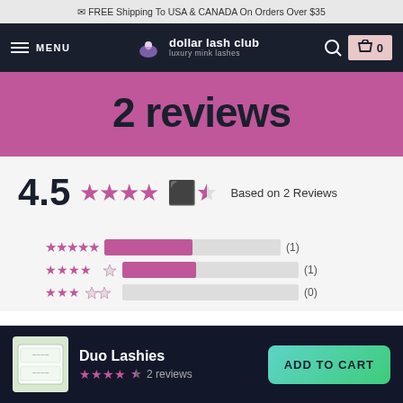✉ FREE Shipping To USA & CANADA On Orders Over $35
[Figure (screenshot): Navigation bar with hamburger menu labeled MENU, dollar lash club unicorn logo, search icon, and cart icon with 0]
2 reviews
4.5 ★★★★½ Based on 2 Reviews
[Figure (bar-chart): Rating distribution]
Duo Lashies ★★★★½ 2 reviews ADD TO CART